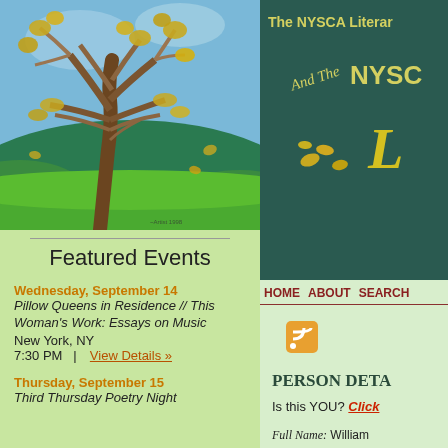[Figure (illustration): Painting of a large bare tree with yellow-green leaves against a blue sky and green hills landscape]
Featured Events
Wednesday, September 14
Pillow Queens in Residence // This Woman's Work: Essays on Music
New York, NY
7:30 PM   |   View Details »
Thursday, September 15
Third Thursday Poetry Night
The NYSCA Literar...
And The NYSC... L
HOME   ABOUT   SEARCH
Person Details
Is this YOU? Click
Full Name: William
Biography:
(1941-2017) Novelis...
1941   New York Cou...
William Rein...